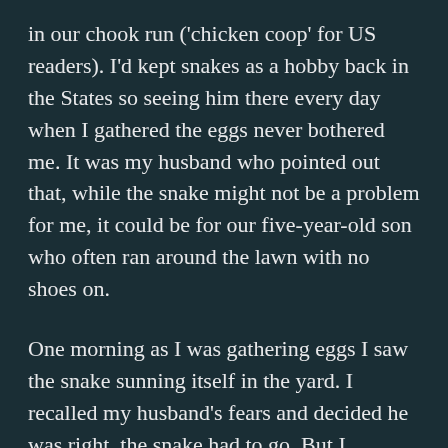in our chook run ('chicken coop' for US readers). I'd kept snakes as a hobby back in the States so seeing him there every day when I gathered the eggs never bothered me. It was my husband who pointed out that, while the snake might not be a problem for me, it could be for our five-year-old son who often ran around the lawn with no shoes on.
One morning as I was gathering eggs I saw the snake sunning itself in the yard. I recalled my husband's fears and decided he was right, the snake had to go. But I couldn't bring myself to kill it. Having handled countless snakes growing up, I simply pinned its head, grabbed it firmly behind the neck and picked it up, my intention